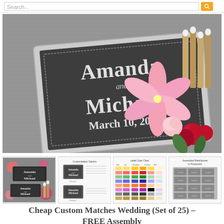Search...
[Figure (photo): Custom personalized matchbox wedding favor with dark chalkboard-style label reading 'Amanda and Michael March 10, 2018', shown open with wooden matches visible, next to a bouquet of pink and red flowers on a granite surface.]
[Figure (photo): Four thumbnail images showing: (1) two custom matchboxes with floral background, (2) customization options chart with two design examples labeled Design 1 and Design 2, (3) label color chart showing multiple color swatches, (4) assembled matchboxes in production arranged in a grid.]
Cheap Custom Matches Wedding (Set of 25) – FREE Assembly